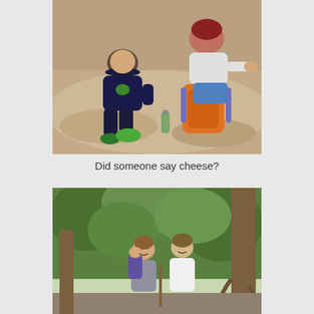[Figure (photo): A young boy in a navy blue hoodie with green logo and a baseball cap sits on a large rock. An adult crouches behind him with an orange backpack nearby, and a bottle is visible on the rock. The setting appears to be outdoors on a rocky trail.]
Did someone say cheese?
[Figure (photo): Two women smile for the camera on a rocky forest trail. One carries a child in a baby carrier on her back. Tall trees with exposed roots and large boulders are visible in the background.]